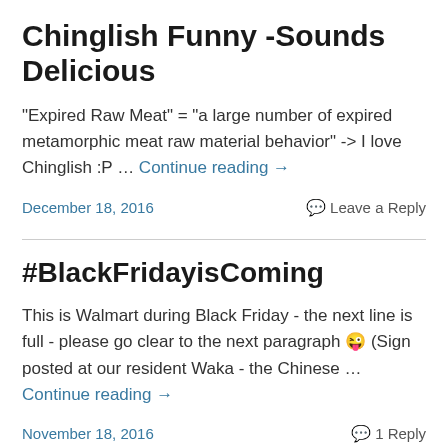Chinglish Funny -Sounds Delicious
"Expired Raw Meat" = "a large number of expired metamorphic meat raw material behavior" -> I love Chinglish :P … Continue reading →
December 18, 2016    Leave a Reply
#BlackFridayisComing
This is Walmart during Black Friday - the next line is full - please go clear to the next paragraph 😜 (Sign posted at our resident Waka - the Chinese … Continue reading →
November 18, 2016    1 Reply